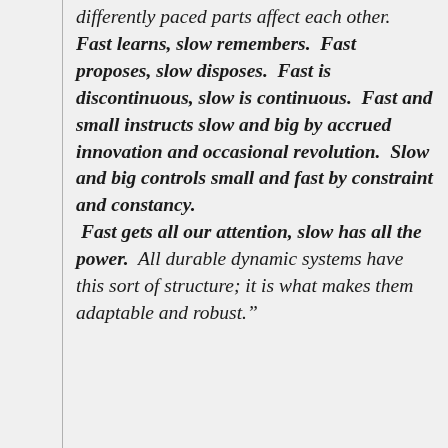differently paced parts affect each other.  Fast learns, slow remembers.  Fast proposes, slow disposes.  Fast is discontinuous, slow is continuous.  Fast and small instructs slow and big by accrued innovation and occasional revolution.  Slow and big controls small and fast by constraint and constancy.  Fast gets all our attention, slow has all the power.  All durable dynamic systems have this sort of structure; it is what makes them adaptable and robust.”